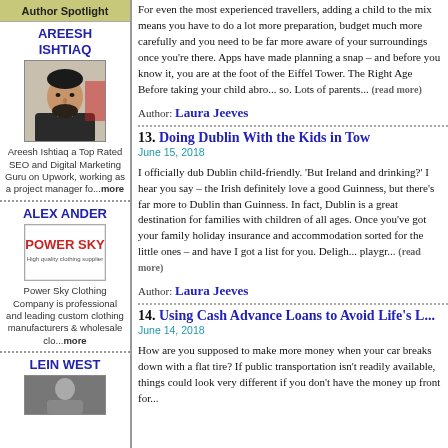Author Spotlight
AREESH ISHTIAQ
[Figure (photo): Photo of Areesh Ishtiaq, a man with beard in dark clothing]
Areesh Ishtiaq a Top Rated SEO and Digital Marketing Guru on Upwork, working as a project manager fo...more
ALEX ANDER
[Figure (logo): Power Sky logo - red text on white background reading POWER SKY High quality clothing supplier]
Power Sky Clothing Company is professional and leading custom clothing manufacturers & wholesale clo...more
LEIN WEST
[Figure (photo): Photo of Lein West]
For even the most experienced travellers, adding... have to do a lot more preparation, budget much m... be far more aware of your surroundings once you'r... planning a snap – and before you know it, you a... Tower. The Right Age Before taking your child abro... so. Lots of parents... (read more)
Author: Laura Jeeves
13. Doing Dublin With the Kids in Tow
June 15, 2018
I officially dub Dublin child-friendly. 'But Ireland ar... the Irish definitely love a good Guinness, but there... In fact, Dublin is a great destination for families w... Once you've got your family holiday insurance and... little ones – and have I got a list for you. Deligh... playgr... (read more)
Author: Laura Jeeves
14. Using Cash Advance Loans to Avoid Life's
June 14, 2018
How are you supposed to make more money whe... flat tire? If public transportation isn't readily availabl... different if you don't have the money up front for...